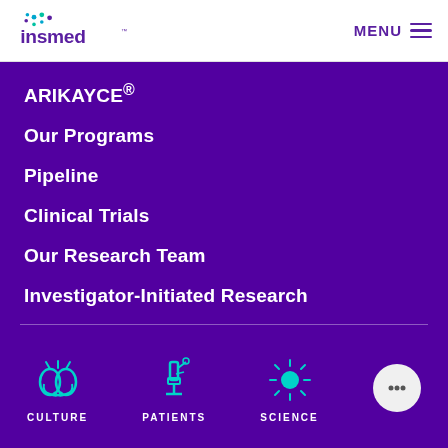[Figure (logo): Insmed company logo with colorful dots above the text]
MENU
ARIKAYCE®
Our Programs
Pipeline
Clinical Trials
Our Research Team
Investigator-Initiated Research
[Figure (infographic): Three teal icons at the bottom: CULTURE (hands clapping), PATIENTS (microscope), SCIENCE (sun/atom), and a circular chat button on the right]